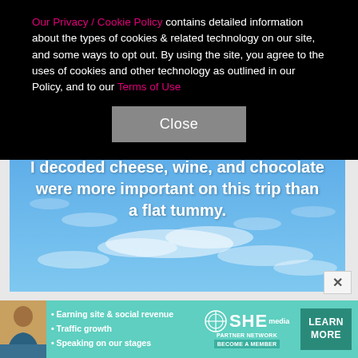Our Privacy / Cookie Policy contains detailed information about the types of cookies & related technology on our site, and some ways to opt out. By using the site, you agree to the uses of cookies and other technology as outlined in our Policy, and to our Terms of Use
Close
[Figure (photo): Blue sky with scattered white clouds, with bold white text overlay reading: I decoded cheese, wine, and chocolate were more important on this trip than a flat tummy.]
[Figure (infographic): SHE Partner Network advertisement banner with a woman's photo, bullet points: Earning site & social revenue, Traffic growth, Speaking on our stages, SHE logo, BECOME A MEMBER, and LEARN MORE button.]